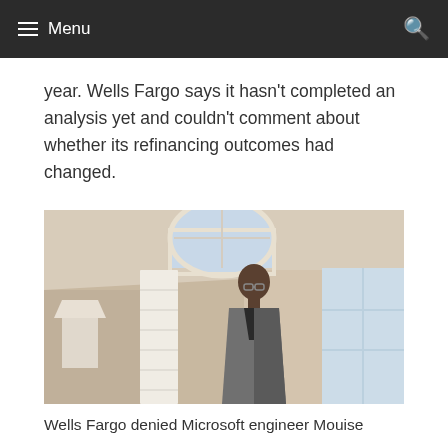Menu
year. Wells Fargo says it hasn't completed an analysis yet and couldn't comment about whether its refinancing outcomes had changed.
[Figure (photo): A man in a grey blazer standing in a room with large arched windows and white shutters, photographed in warm interior light.]
Wells Fargo denied Microsoft engineer Mouise